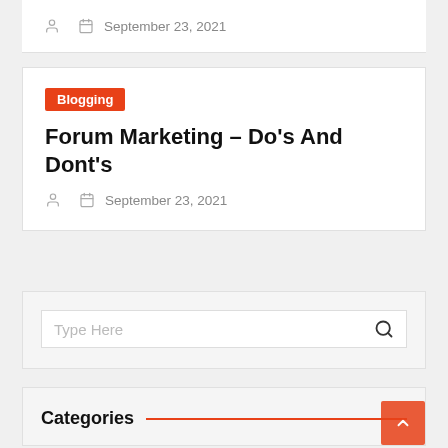September 23, 2021
Blogging
Forum Marketing – Do's And Dont's
September 23, 2021
Type Here
Categories